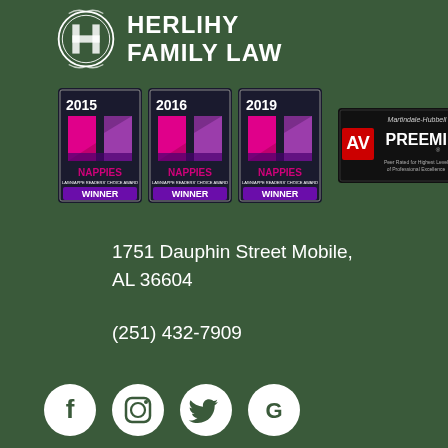[Figure (logo): Herlihy Family Law logo with circular emblem and firm name text]
[Figure (infographic): Three Nappies Winner badges for 2015, 2016, and 2019, plus an AV Preeminent Martindale-Hubbell 2019 rating badge]
1751 Dauphin Street Mobile, AL 36604
(251) 432-7909
[Figure (infographic): Social media icons for Facebook, Instagram, Twitter, and Google]